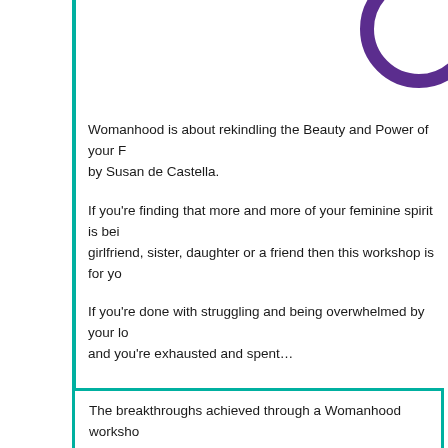Womanhood is about rekindling the Beauty and Power of your F... by Susan de Castella.
If you're finding that more and more of your feminine spirit is bei... girlfriend, sister, daughter or a friend then this workshop is for yo...
If you're done with struggling and being overwhelmed by your lo... and you're exhausted and spent…
Let me offer you the space to nurture the wonderful woman that ... again.
FOR MORE INFORMATION GO TO: www.eq.net.au/womanhoo...
WOMANHOOD FEEDBACK
The breakthroughs achieved through a Womanhood worksho...